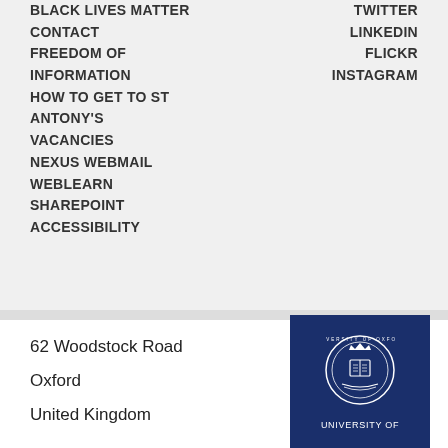BLACK LIVES MATTER
CONTACT
FREEDOM OF INFORMATION
HOW TO GET TO ST ANTONY'S
VACANCIES
NEXUS WEBMAIL
WEBLEARN
SHAREPOINT
ACCESSIBILITY
TWITTER
LINKEDIN
FLICKR
INSTAGRAM
62 Woodstock Road
Oxford
United Kingdom
[Figure (logo): University of Oxford logo — dark navy blue background with white university crest and text UNIVERSITY OF]